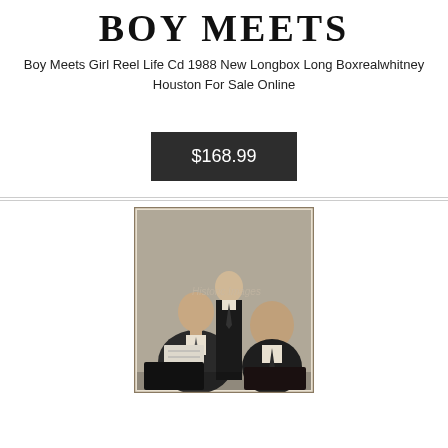BOY MEETS
Boy Meets Girl Reel Life Cd 1988 New Longbox Long Boxrealwhitney Houston For Sale Online
$168.99
[Figure (photo): Black and white archival photograph showing three men in suits. One man on the left holds a document, a taller man stands in the background center, and a third man is on the right. A watermark reading 'Historic Images' is visible.]